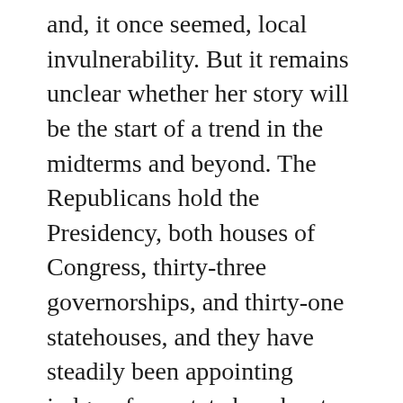and, it once seemed, local invulnerability. But it remains unclear whether her story will be the start of a trend in the midterms and beyond. The Republicans hold the Presidency, both houses of Congress, thirty-three governorships, and thirty-one statehouses, and they have steadily been appointing judges, from state benches to the Supreme Court.
So far, the polls for the Democrats in House races are promising, but the over-all electoral picture is mixed, particularly for the left. Ben Jealous, the former head of the N.A.A.C.P., has a decent shot at the governorship in Maryland. According to a recent poll, Cynthia Nixon, who